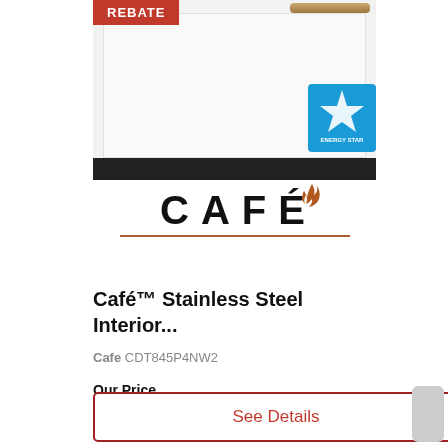[Figure (photo): Café brand dishwasher with stainless steel panel, bronze/gold handle, REBATE badge in top-left corner, and ENERGY STAR certification badge. Below the appliance image is the CAFÉ brand logo with decorative flame accent and copper underline.]
Café™ Stainless Steel Interior...
Cafe CDT845P4NW2
Our Price
$1,449.95
See Details